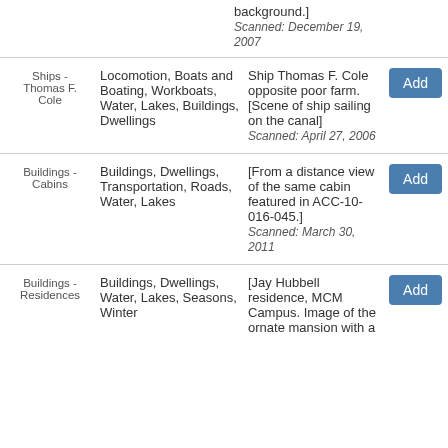background.]
Scanned: December 19, 2007
| Category | Tags | Description | Action |
| --- | --- | --- | --- |
| Ships - Thomas F. Cole | Locomotion, Boats and Boating, Workboats, Water, Lakes, Buildings, Dwellings | Ship Thomas F. Cole opposite poor farm. [Scene of ship sailing on the canal]
Scanned: April 27, 2006 | Add |
| Buildings - Cabins | Buildings, Dwellings, Transportation, Roads, Water, Lakes | [From a distance view of the same cabin featured in ACC-10-016-045.]
Scanned: March 30, 2011 | Add |
| Buildings - Residences | Buildings, Dwellings, Water, Lakes, Seasons, Winter | [Jay Hubbell residence, MCM Campus. Image of the ornate mansion with a | Add |